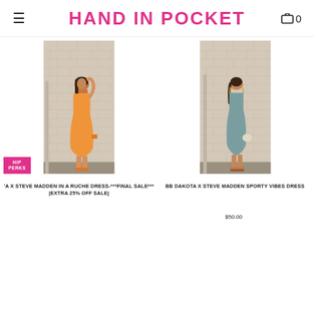HAND IN POCKET
[Figure (photo): Woman in orange ruched mini dress with orange heeled sandals posed against a brick wall outdoors]
[Figure (photo): Woman in grey/teal ruched sporty mini dress with platform wedge sandals posed against a brick wall outdoors]
'A X STEVE MADDEN IN A RUCHE DRESS-***FINAL SALE*** |EXTRA 25% OFF SALE|
BB DAKOTA X STEVE MADDEN SPORTY VIBES DRESS
$50.00